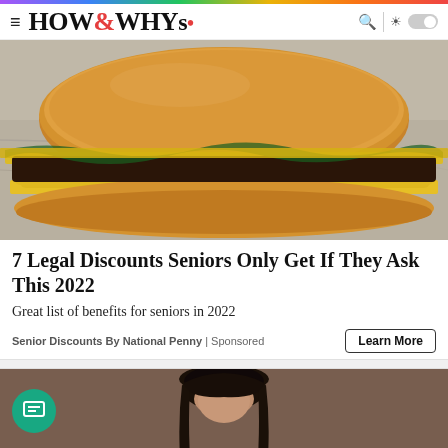HOW&WHYs
[Figure (photo): Close-up photo of a double cheeseburger with melted yellow cheese on a foil wrapper]
7 Legal Discounts Seniors Only Get If They Ask This 2022
Great list of benefits for seniors in 2022
Senior Discounts By National Penny | Sponsored
Learn More
[Figure (photo): Partial photo of a person with dark hair, with a teal chat bubble icon overlay in the bottom left]